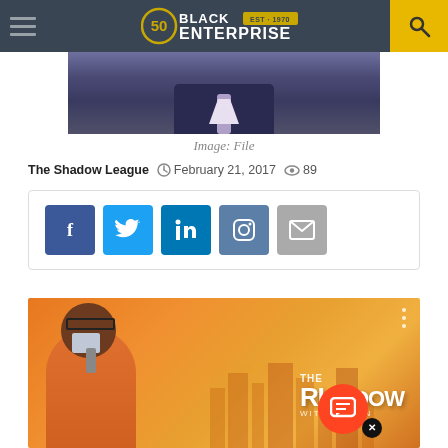Black Enterprise — EST. 1970
[Figure (photo): Cropped photo of a man in a suit with a purple tie against dark background]
Image: File
The Shadow League   February 21, 2017   89
[Figure (infographic): Social share buttons: Facebook, Twitter, LinkedIn, Instagram, Email]
[Figure (photo): Promotional image for 'The Rundown with Ramon' show — man in orange jacket smiling against orange city skyline background]